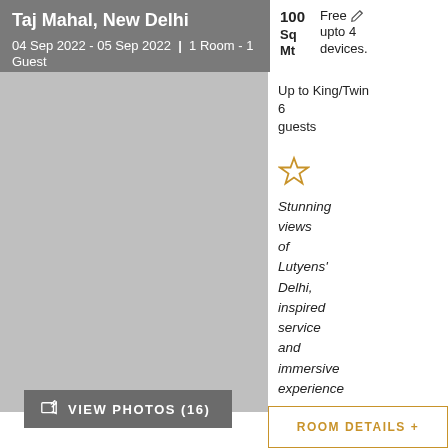Taj Mahal, New Delhi
04 Sep 2022 - 05 Sep 2022 | 1 Room - 1 Guest
100 Sq Mt   Free for upto 4 devices.
Up to King/Twin 6 guests
[Figure (illustration): Star/favourite icon outline in gold/orange]
Stunning views of Lutyens' Delhi, inspired service and immersive experience
[Figure (photo): Hotel room photo placeholder - grey rectangle]
VIEW PHOTOS (16)
ROOM DETAILS +